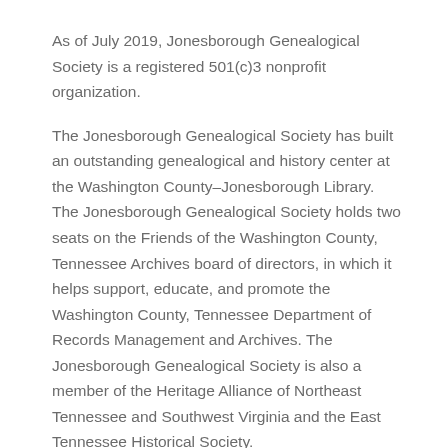As of July 2019, Jonesborough Genealogical Society is a registered 501(c)3 nonprofit organization.
The Jonesborough Genealogical Society has built an outstanding genealogical and history center at the Washington County–Jonesborough Library. The Jonesborough Genealogical Society holds two seats on the Friends of the Washington County, Tennessee Archives board of directors, in which it helps support, educate, and promote the Washington County, Tennessee Department of Records Management and Archives. The Jonesborough Genealogical Society is also a member of the Heritage Alliance of Northeast Tennessee and Southwest Virginia and the East Tennessee Historical Society.